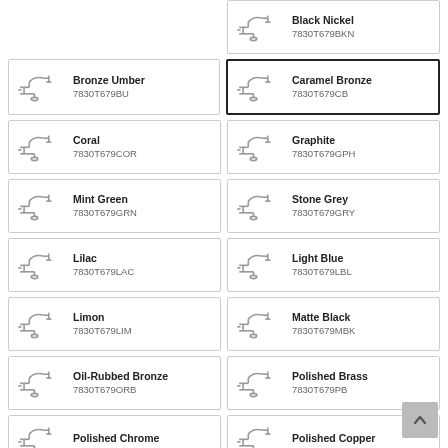[Figure (other): Product listing grid showing faucet finish options. Top partial row shows Black Nickel 7830T679BKN. Then rows: Bronze Umber 7830T679BU / Caramel Bronze 7830T679CB (selected). Coral 7830T679COR / Graphite 7830T679GPH. Mint Green 7830T679GRN / Stone Grey 7830T679GRY. Lilac 7830T679LAC / Light Blue 7830T679LBL. Limon 7830T679LIM / Matte Black 7830T679MBK. Oil-Rubbed Bronze 7830T679ORB / Polished Brass 7830T679PB. Partial row: Polished Chrome / Polished Copper.]